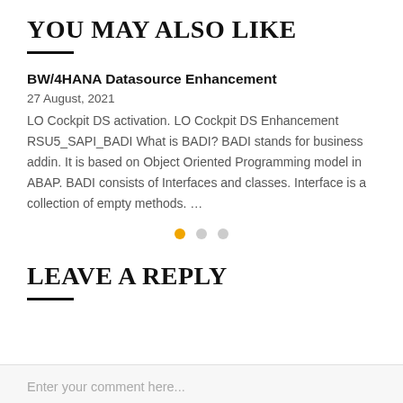YOU MAY ALSO LIKE
BW/4HANA Datasource Enhancement
27 August, 2021
LO Cockpit DS activation. LO Cockpit DS Enhancement RSU5_SAPI_BADI What is BADI? BADI stands for business addin. It is based on Object Oriented Programming model in ABAP. BADI consists of Interfaces and classes. Interface is a collection of empty methods. …
LEAVE A REPLY
Enter your comment here...